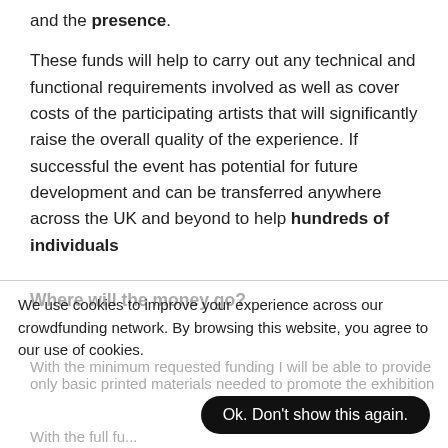and the presence.
These funds will help to carry out any technical and functional requirements involved as well as cover costs of the participating artists that will significantly raise the overall quality of the experience. If successful the event has potential for future development and can be transferred anywhere across the UK and beyond to help hundreds of individuals
Where will the money go?
We use cookies to improve your experience across our crowdfunding network. By browsing this website, you agree to our use of cookies.
With the minimum requested funding I will be able to provide only basic printed materials needed to promote the exhibition
With the full funding amount I will be able to
Ok. Don't show this again.